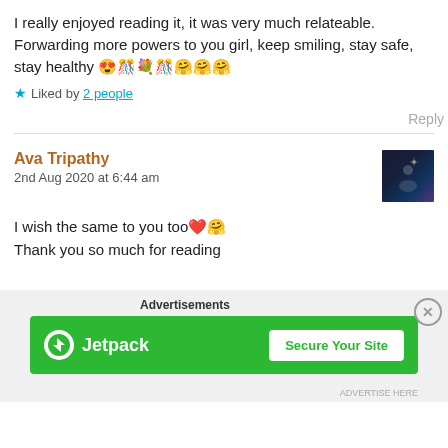I really enjoyed reading it, it was very much relateable. Forwarding more powers to you girl, keep smiling, stay safe, stay healthy 😍🎊💐🎊🤗🤗🤗
★ Liked by 2 people
Reply
Ava Tripathy
2nd Aug 2020 at 6:44 am
[Figure (photo): Small dark profile avatar image]
I wish the same to you too❤️🤗
Thank you so much for reading
[Figure (infographic): Jetpack advertisement banner with green background, Jetpack logo and 'Secure Your Site' button]